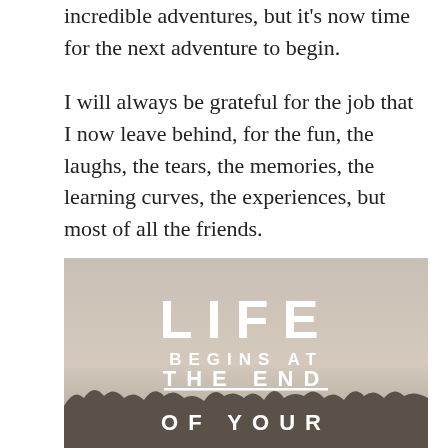incredible adventures, but it's now time for the next adventure to begin.
I will always be grateful for the job that I now leave behind, for the fun, the laughs, the tears, the memories, the learning curves, the experiences, but most of all the friends.
[Figure (illustration): Inspirational quote image with a misty landscape background (trees/forest silhouette at bottom, hazy sky gradient). White bold spaced text reads: LIFE / BEGINS AT / THE END / (horizontal rule) / OF YOUR]